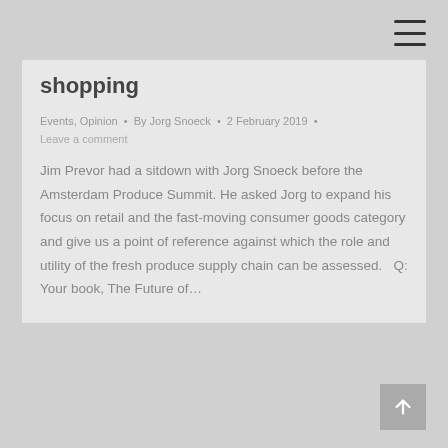☰
shopping
Events, Opinion • By Jorg Snoeck • 2 February 2019 •
Leave a comment
Jim Prevor had a sitdown with Jorg Snoeck before the Amsterdam Produce Summit. He asked Jorg to expand his focus on retail and the fast-moving consumer goods category and give us a point of reference against which the role and utility of the fresh produce supply chain can be assessed.   Q: Your book, The Future of…